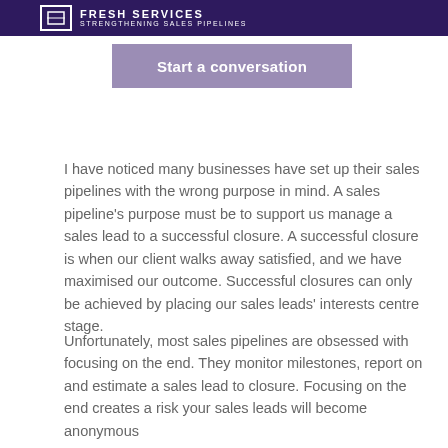FRESH SERVICES STRENGTHENING SALES PIPELINES
Start a conversation
I have noticed many businesses have set up their sales pipelines with the wrong purpose in mind. A sales pipeline's purpose must be to support us manage a sales lead to a successful closure. A successful closure is when our client walks away satisfied, and we have maximised our outcome. Successful closures can only be achieved by placing our sales leads' interests centre stage.
Unfortunately, most sales pipelines are obsessed with focusing on the end. They monitor milestones, report on and estimate a sales lead to closure. Focusing on the end creates a risk your sales leads will become anonymous